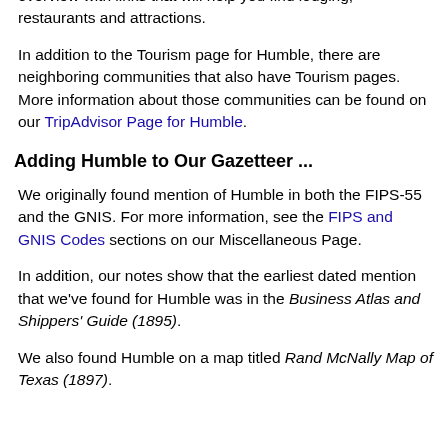wonderful source is the TripAdvisor website. We always start with the TripAdvisor Tourism page, where you can read an overview with links that will help you find lodging, restaurants and attractions.
In addition to the Tourism page for Humble, there are neighboring communities that also have Tourism pages. More information about those communities can be found on our TripAdvisor Page for Humble.
Adding Humble to Our Gazetteer ...
We originally found mention of Humble in both the FIPS-55 and the GNIS. For more information, see the FIPS and GNIS Codes sections on our Miscellaneous Page.
In addition, our notes show that the earliest dated mention that we've found for Humble was in the Business Atlas and Shippers' Guide (1895).
We also found Humble on a map titled Rand McNally Map of Texas (1897).